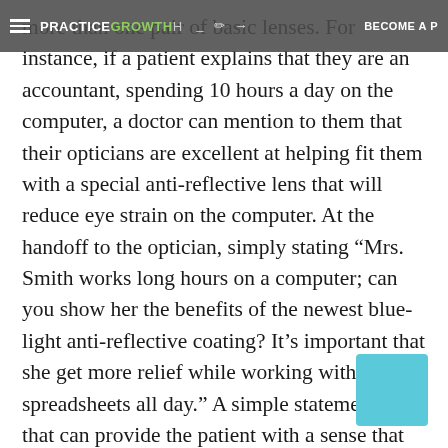PRACTICEGROWTH — BECOME A P
more than one pair of basic lenses. For instance, if a patient explains that they are an accountant, spending 10 hours a day on the computer, a doctor can mention to them that their opticians are excellent at helping fit them with a special anti-reflective lens that will reduce eye strain on the computer. At the handoff to the optician, simply stating “Mrs. Smith works long hours on a computer; can you show her the benefits of the newest blue-light anti-reflective coating? It’s important that she get more relief while working with spreadsheets all day.” A simple statement like that can provide the patient with a sense that you truly care about her comfort, and open her eyes to the fact that one pair of glasses is simply not enough for everyone.